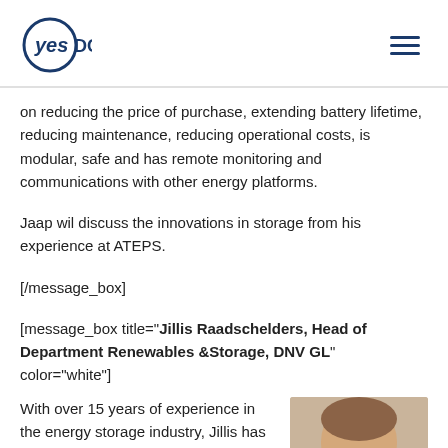yes DC
on reducing the price of purchase, extending battery lifetime, reducing maintenance, reducing operational costs, is modular, safe and has remote monitoring and communications with other energy platforms.
Jaap wil discuss the innovations in storage from his experience at ATEPS.
[/message_box]
[message_box title="Jillis Raadschelders, Head of Department Renewables &Storage, DNV GL" color="white"]
With over 15 years of experience in the energy storage industry, Jillis has become
[Figure (photo): Portrait photo of a person, partially visible, cropped at bottom right of page]